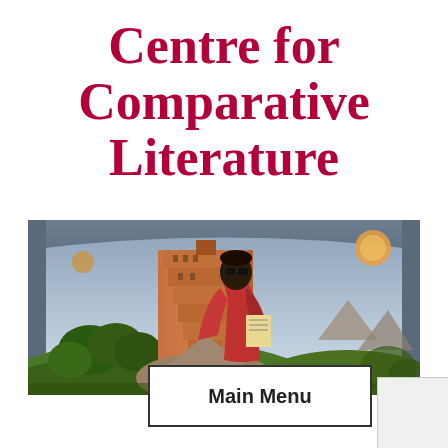Centre for Comparative Literature
[Figure (illustration): A panoramic image showing a figure in a red robe with sunglasses standing before a painted backdrop featuring the Tower of Babel with green trees and an arched sky.]
Main Menu